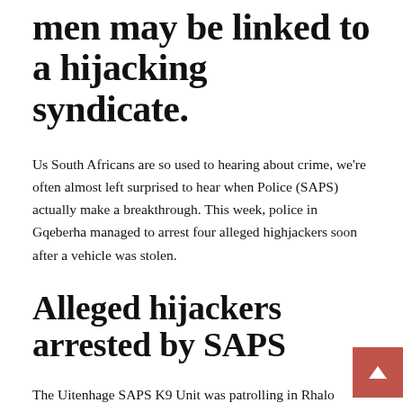men may be linked to a hijacking syndicate.
Us South Africans are so used to hearing about crime, we're often almost left surprised to hear when Police (SAPS) actually make a breakthrough. This week, police in Gqeberha managed to arrest four alleged highjackers soon after a vehicle was stolen.
Alleged hijackers arrested by SAPS
The Uitenhage SAPS K9 Unit was patrolling in Rhalo Street, KwaMagxaki on Thursday night, when it spotted a white Ford Ikon. Officers began following the car as they suspected it may have been hijacked earlier that day in New Brighton.
ALSO READ – June fuel price: Mantashe confirms 'worst news